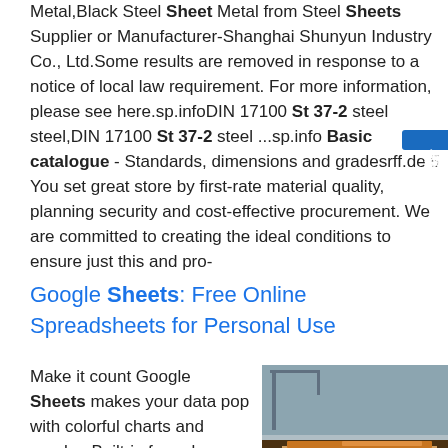Metal,Black Steel Sheet Metal from Steel Sheets Supplier or Manufacturer-Shanghai Shunyun Industry Co., Ltd.Some results are removed in response to a notice of local law requirement. For more information, please see here.sp.infoDIN 17100 St 37-2 steel steel,DIN 17100 St 37-2 steel ...sp.info Basic catalogue - Standards, dimensions and gradesrff.de 5 You set great store by first-rate material quality, planning security and cost-effective procurement. We are committed to creating the ideal conditions to ensure just this and pro-
[Figure (infographic): Blue sidebar button with Chinese text '在线资询' (online consultation)]
Google Sheets: Free Online Spreadsheets for Personal Use
Make it count Google Sheets makes your data pop with colorful charts and graphs. Built-in formulas, pivot tables and conditional formatting options save time and
[Figure (photo): Photograph of a stack of steel sheet metal plates, showing multiple layers of flat steel with orange/rust coloration, outdoors setting visible in background]